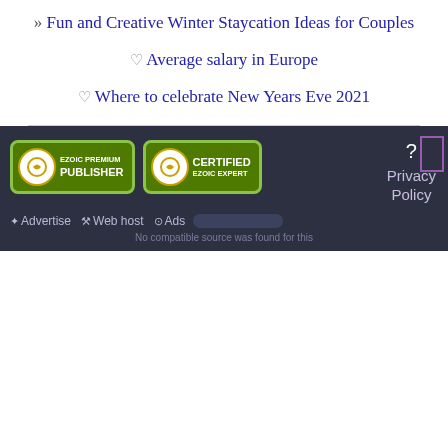» Fun and Creative Winter Staycation Ideas for Couples
♡ Average salary in Europe
♡ Where to celebrate New Years Eve 2021
[Figure (logo): Ezoic Premium Publisher badge - green rounded rectangle badge with Ezoic logo]
[Figure (logo): Certified Ezoic Expert badge - green rounded rectangle badge with Ezoic logo]
Privacy Policy
Advertise  Web host  Ads  No compatible source was found for this